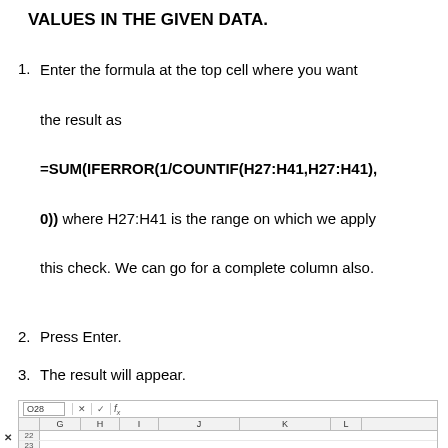VALUES IN THE GIVEN DATA.
Enter the formula at the top cell where you want the result as =SUM(IFERROR(1/COUNTIF(H27:H41,H27:H41), 0)) where H27:H41 is the range on which we apply this check. We can go for a complete column also.
Press Enter.
The result will appear.
[Figure (screenshot): Excel spreadsheet screenshot showing rows 22-24 with columns G through L. Row 24 contains a green-highlighted bar with text. Cell reference box shows O28.]